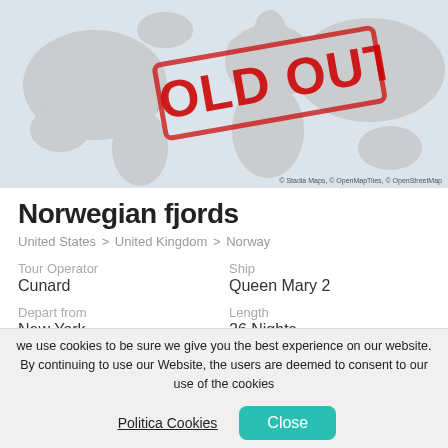[Figure (map): World map showing route from United States to United Kingdom to Norway, with a red SOLD OUT! stamp overlaid diagonally]
Norwegian fjords
United States > United Kingdom > Norway
Tour Operator
Cunard
Ship
Queen Mary 2
Depart from
New York
Length
26 Nights
Departure Date
25 October 2022
Arrival Date
20 November 2022
we use cookies to be sure we give you the best experience on our website. By continuing to use our Website, the users are deemed to consent to our use of the cookies
Politica Cookies   Close